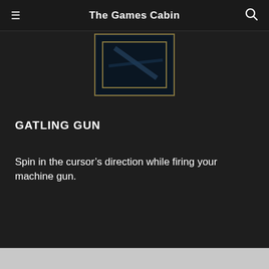The Games Cabin
[Figure (screenshot): A dark game screenshot thumbnail with a golden/yellow border showing a dimly lit scene]
GATLING GUN
Spin in the cursor’s direction while firing your machine gun.